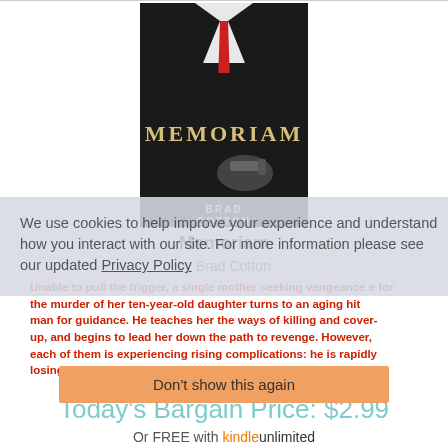[Figure (photo): Book cover of 'Memoriam' by Brad Cotton — shows a man in a dark suit with a red tie, holding a gun; gold lettering MEMORIAM on cover, author name BRAD COTTON below]
Memoriam
by Brad Cotton
Unable to pull the trigger, a single mother seeking vengeance for the murder of her ten-year-old daughter turns to an aging hit man for guidance. He teaches her the ways of killing and cover-up, and begins to lead her down the path to revenge. However, each of them is experiencing rising complications: he is rapidly losing his memory...
We use cookies to help improve your experience and understand how you interact with our site. For more information please see our updated Privacy Policy
Don't show this again
Today's Bargain Price: $2.99
Or FREE with kindle unlimited